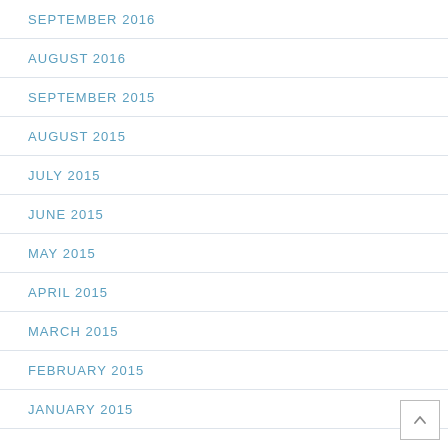SEPTEMBER 2016
AUGUST 2016
SEPTEMBER 2015
AUGUST 2015
JULY 2015
JUNE 2015
MAY 2015
APRIL 2015
MARCH 2015
FEBRUARY 2015
JANUARY 2015